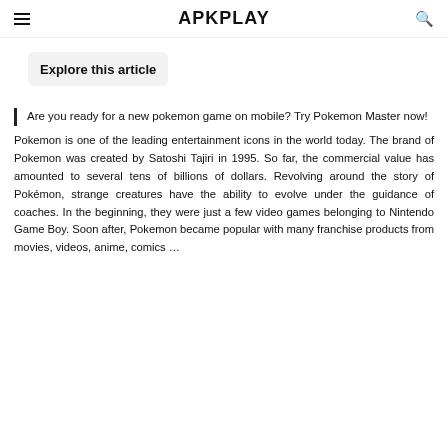APKPLAY
Explore this article
Are you ready for a new pokemon game on mobile? Try Pokemon Master now!
Pokemon is one of the leading entertainment icons in the world today. The brand of Pokemon was created by Satoshi Tajiri in 1995. So far, the commercial value has amounted to several tens of billions of dollars. Revolving around the story of Pokémon, strange creatures have the ability to evolve under the guidance of coaches. In the beginning, they were just a few video games belonging to Nintendo Game Boy. Soon after, Pokemon became popular with many franchise products from movies, videos, anime, comics …